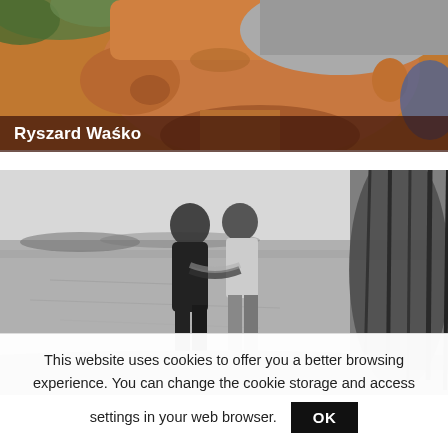[Figure (photo): Close-up side profile of an older man with short gray hair, orange/warm toned color photo, with green foliage visible in background.]
Ryszard Waśko
[Figure (photo): Black and white photograph of two people standing by a body of water with reeds/tall grass visible on the right side.]
This website uses cookies to offer you a better browsing experience. You can change the cookie storage and access settings in your web browser.